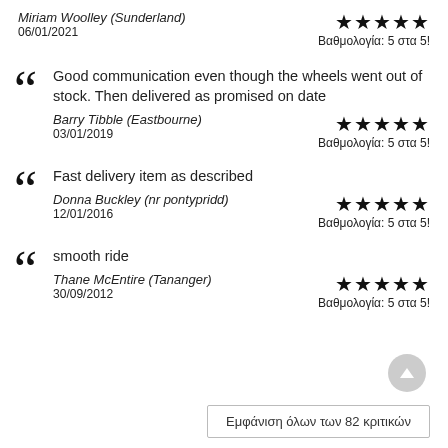Miriam Woolley (Sunderland)
06/01/2021
★★★★★ Βαθμολογία: 5 στα 5!
Good communication even though the wheels went out of stock. Then delivered as promised on date
Barry Tibble (Eastbourne)
03/01/2019
★★★★★ Βαθμολογία: 5 στα 5!
Fast delivery item as described
Donna Buckley (nr pontypridd)
12/01/2016
★★★★★ Βαθμολογία: 5 στα 5!
smooth ride
Thane McEntire (Tananger)
30/09/2012
★★★★★ Βαθμολογία: 5 στα 5!
Εμφάνιση όλων των 82 κριτικών